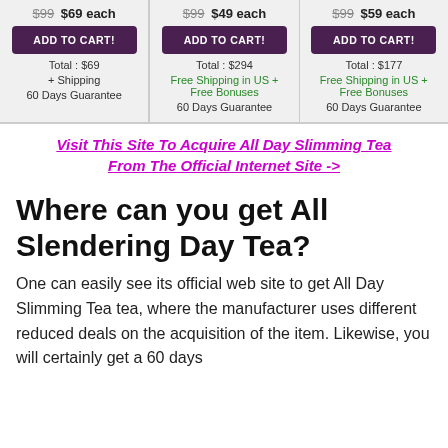$99 $69 each | ADD TO CART! | Total: $69 | + Shipping | 60 Days Guarantee
$99 $49 each | ADD TO CART! | Total: $294 | Free Shipping in US + Free Bonuses | 60 Days Guarantee
$99 $59 each | ADD TO CART! | Total: $177 | Free Shipping in US + Free Bonuses | 60 Days Guarantee
Visit This Site To Acquire All Day Slimming Tea From The Official Internet Site ->
Where can you get All Slendering Day Tea?
One can easily see its official web site to get All Day Slimming Tea tea, where the manufacturer uses different reduced deals on the acquisition of the item. Likewise, you will certainly get a 60 days